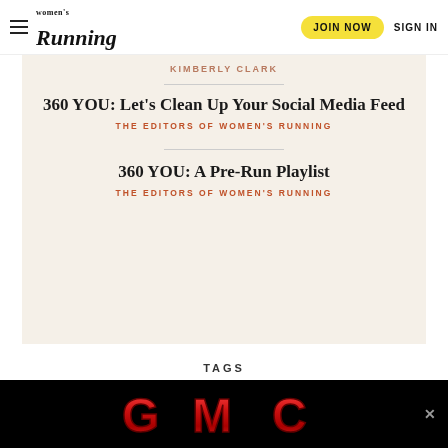Women's Running — JOIN NOW | SIGN IN
KIMBERLY CLARK
360 YOU: Let's Clean Up Your Social Media Feed
THE EDITORS OF WOMEN'S RUNNING
360 YOU: A Pre-Run Playlist
THE EDITORS OF WOMEN'S RUNNING
TAGS
BOSTON MARATHON
REAL RUNNERS
[Figure (logo): GMC advertisement banner on black background]